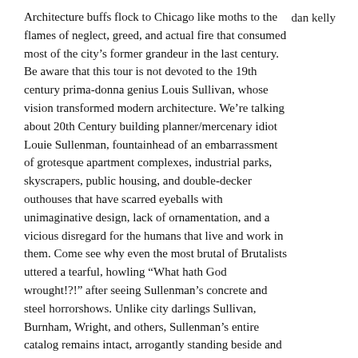dan kelly
Architecture buffs flock to Chicago like moths to the flames of neglect, greed, and actual fire that consumed most of the city's former grandeur in the last century. Be aware that this tour is not devoted to the 19th century prima-donna genius Louis Sullivan, whose vision transformed modern architecture. We're talking about 20th Century building planner/mercenary idiot Louie Sullenman, fountainhead of an embarrassment of grotesque apartment complexes, industrial parks, skyscrapers, public housing, and double-decker outhouses that have scarred eyeballs with unimaginative design, lack of ornamentation, and a vicious disregard for the humans that live and work in them. Come see why even the most brutal of Brutalists uttered a tearful, howling “What hath God wrought!?!” after seeing Sullenman’s concrete and steel horrorshows. Unlike city darlings Sullivan, Burnham, Wright, and others, Sullenman’s entire catalog remains intact, arrogantly standing beside and astride the work of greater artists than himself, contemptuously flicking bits of air conditioning sweat and pigeon excrement onto them all year round. This is an interactive tour